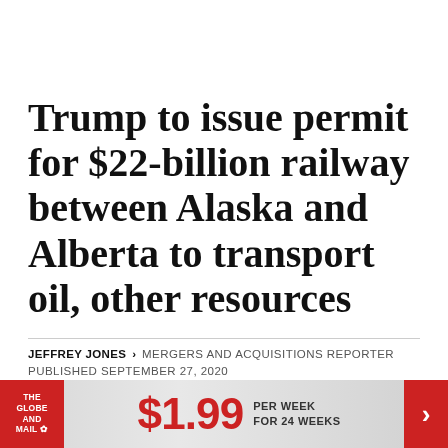Trump to issue permit for $22-billion railway between Alaska and Alberta to transport oil, other resources
JEFFREY JONES › MERGERS AND ACQUISITIONS REPORTER PUBLISHED SEPTEMBER 27, 2020
[Figure (infographic): The Globe and Mail newspaper subscription banner advertisement: logo on left red background, price $1.99 per week for 24 weeks in center, red chevron arrow on right]